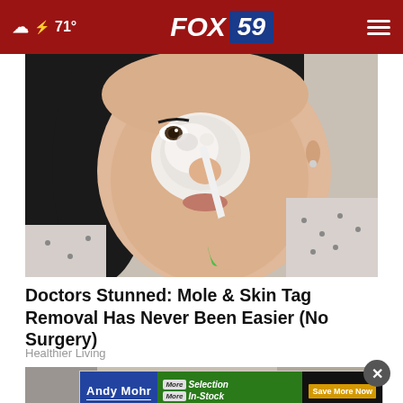71° FOX 59
[Figure (photo): Woman applying white cream/product to her nose area with a toothbrush, wearing a white floral top, dark hair, close-up portrait]
Doctors Stunned: Mole & Skin Tag Removal Has Never Been Easier (No Surgery)
Healthier Living
[Figure (photo): Partial view of a second article image, partially obscured by advertisement]
[Figure (other): Andy Mohr Automotive advertisement banner: More Selection, More In-Stock, More for Your Trade — Save More Now — See dealer for details.]